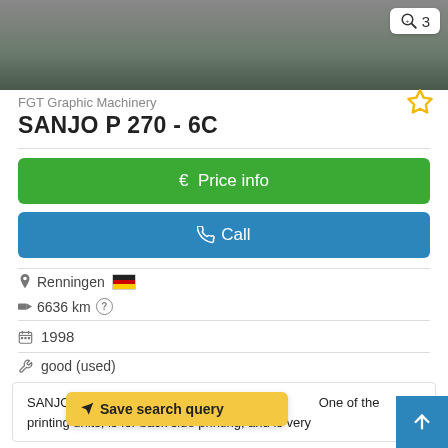[Figure (photo): Top portion of machinery photo, partially visible, with a zoom badge showing '3' in the top right corner]
FGT Graphic Machinery
SANJO  P 270 - 6C
€ Price info
Call
Renningen [Germany flag]
6636 km ?
1998
good (used)
SANJO P 270 - 6C ... 70mm 6-color Flexo ... One of the printing units, is for back side printing, and is very ...
Save search query